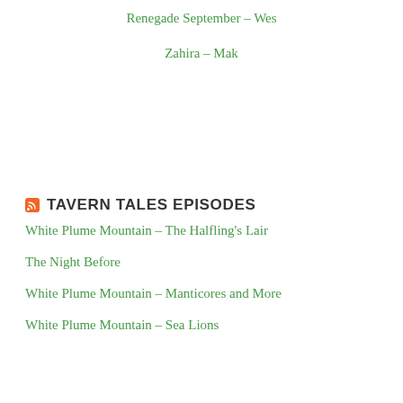Renegade September – Wes
Zahira – Mak
TAVERN TALES EPISODES
White Plume Mountain – The Halfling's Lair
The Night Before
White Plume Mountain – Manticores and More
White Plume Mountain – Sea Lions